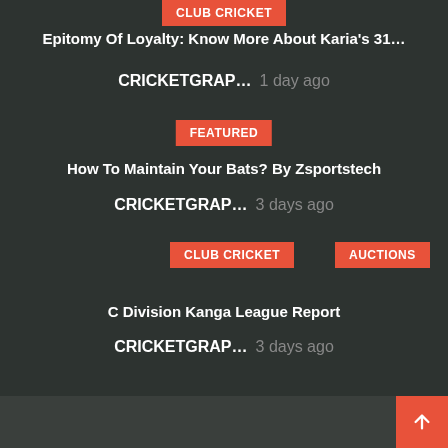CLUB CRICKET
Epitomy Of Loyalty: Know More About Karia's 31…
CRICKETGRAP…    1 day ago
FEATURED
How To Maintain Your Bats? By Zsportstech
CRICKETGRAP…    3 days ago
CLUB CRICKET
AUCTIONS
C Division Kanga League Report
CRICKETGRAP…    3 days ago